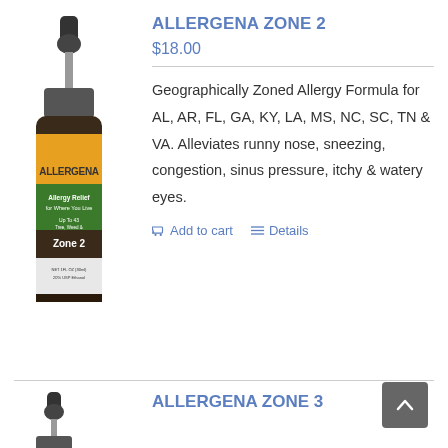[Figure (photo): Brown glass dropper bottle labeled ALLERGENA Zone 2 with yellow and green label showing Allergy Relief for Where You Live]
ALLERGENA ZONE 2
$18.00
Geographically Zoned Allergy Formula for AL, AR, FL, GA, KY, LA, MS, NC, SC, TN & VA. Alleviates runny nose, sneezing, congestion, sinus pressure, itchy & watery eyes.
Add to cart   Details
[Figure (photo): Partial view of another brown glass dropper bottle (Allergena Zone 3), showing only the top dropper portion]
ALLERGENA ZONE 3